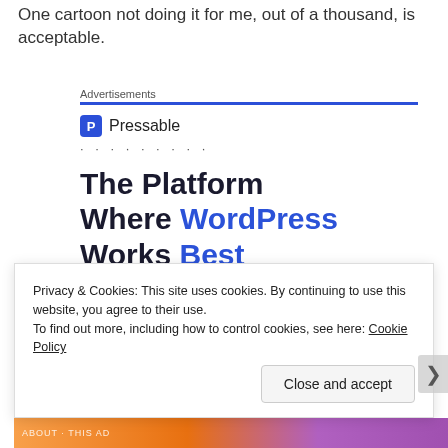One cartoon not doing it for me, out of a thousand, is acceptable.
Advertisements
[Figure (screenshot): Pressable advertisement banner showing logo, dots separator, and headline 'The Platform Where WordPress Works Best' with a blue 'SEE PRICING' button]
Privacy & Cookies: This site uses cookies. By continuing to use this website, you agree to their use.
To find out more, including how to control cookies, see here: Cookie Policy
Close and accept